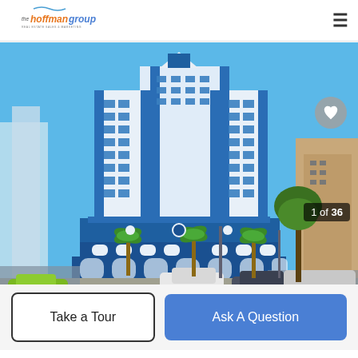the hoffman group — real estate sales & marketing
[Figure (photo): Exterior photo of a large blue and white high-rise coastal resort/condo building with palm trees and a parking lot in the foreground, under a clear blue sky. Image counter overlay shows '1 of 36'.]
1 of 36
Take a Tour
Ask A Question